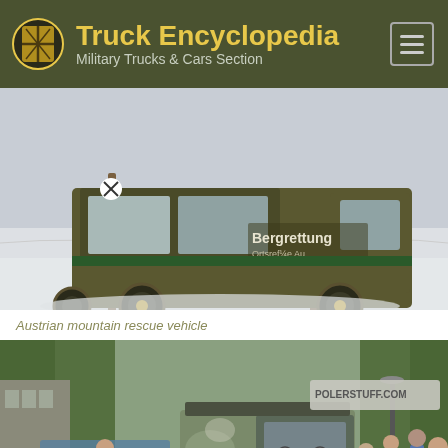Truck Encyclopedia – Military Trucks & Cars Section
[Figure (photo): Austrian mountain rescue vehicle (Bergrettung) parked in snow, a boxy olive-green military-style truck with green stripe]
Austrian mountain rescue vehicle
[Figure (photo): Camouflage military vehicle in a street parade with crowds lining the sidewalk and trees in background; vehicle marked POLERSTUFF.COM and SICK-BAY]